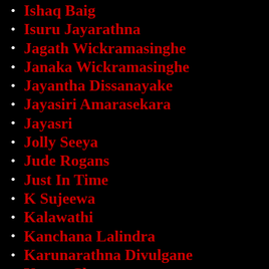Ishaq Baig
Isuru Jayarathna
Jagath Wickramasinghe
Janaka Wickramasinghe
Jayantha Dissanayake
Jayasiri Amarasekara
Jayasri
Jolly Seeya
Jude Rogans
Just In Time
K Sujeewa
Kalawathi
Kanchana Lalindra
Karunarathna Divulgane
Kasun Chamara
Kasun Kalhara